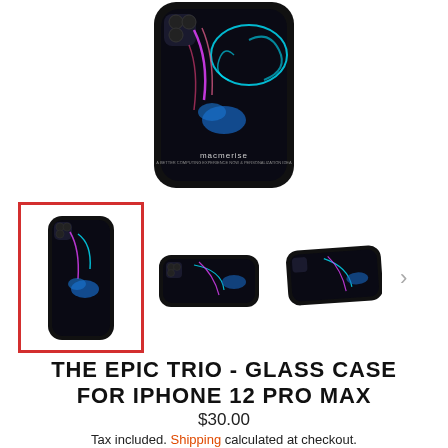[Figure (photo): Main product image: phone case with dark background and colorful neon octopus / dragon design, shown from back. Brand name 'macmerise' visible on case.]
[Figure (photo): Thumbnail strip with three phone case images. First thumbnail (selected, red border): phone case standing upright showing back with neon design. Second thumbnail: case lying flat. Third thumbnail: case at angle. Arrow '>' for more.]
THE EPIC TRIO - GLASS CASE FOR IPHONE 12 PRO MAX
$30.00
Tax included. Shipping calculated at checkout.